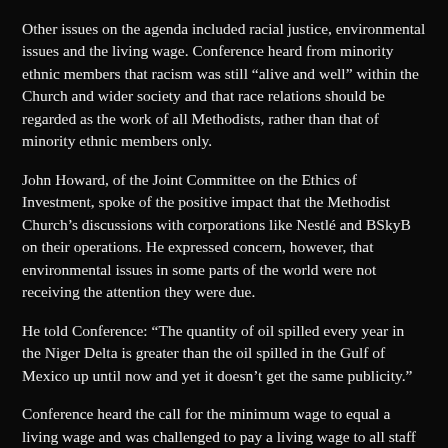Other issues on the agenda included racial justice, environmental issues and the living wage. Conference heard from minority ethnic members that racism was still “alive and well” within the Church and wider society and that race relations should be regarded as the work of all Methodists, rather than that of minority ethnic members only.
John Howard, of the Joint Committee on the Ethics of Investment, spoke of the positive impact that the Methodist Church’s discussions with corporations like Nestlé and BSkyB on their operations. He expressed concern, however, that environmental issues in some parts of the world were not receiving the attention they were due.
He told Conference: “The quantity of oil spilled every year in the Niger Delta is greater than the oil spilled in the Gulf of Mexico up until now and yet it doesn’t get the same publicity.”
Conference heard the call for the minimum wage to equal a living wage and was challenged to pay a living wage to all staff within its churches and charities, although it acknowledged that current budgetary constraints meant it was unlikely this would be achieved